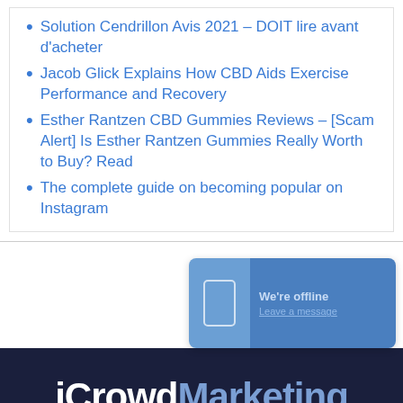Solution Cendrillon Avis 2021 – DOIT lire avant d'acheter
Jacob Glick Explains How CBD Aids Exercise Performance and Recovery
Esther Rantzen CBD Gummies Reviews – [Scam Alert] Is Esther Rantzen Gummies Really Worth to Buy? Read
The complete guide on becoming popular on Instagram
[Figure (screenshot): Chat widget showing 'We're offline / Leave a message' with phone icon, overlaid on a white section above the footer]
iCrowdMarketing